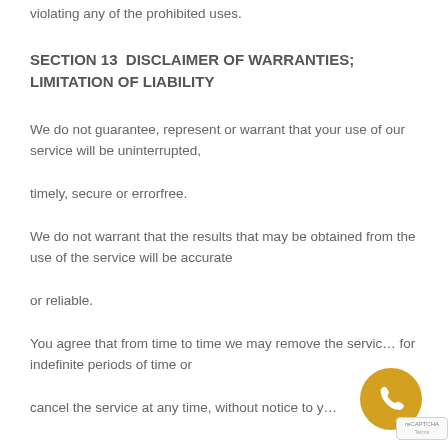violating any of the prohibited uses.
SECTION 13  DISCLAIMER OF WARRANTIES; LIMITATION OF LIABILITY
We do not guarantee, represent or warrant that your use of our service will be uninterrupted,
timely, secure or errorfree.
We do not warrant that the results that may be obtained from the use of the service will be accurate
or reliable.
You agree that from time to time we may remove the service for indefinite periods of time or
cancel the service at any time, without notice to y…